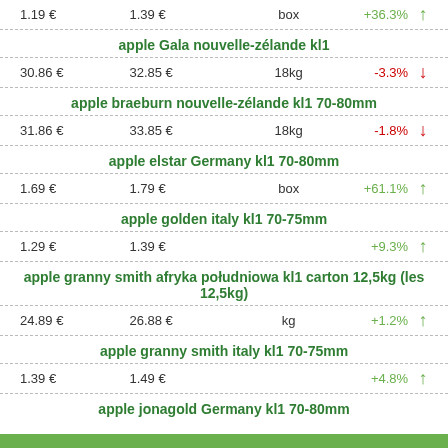| Price1 | Price2 | Unit | Change | Trend |
| --- | --- | --- | --- | --- |
| 1.19 € | 1.39 € | box | +36.3% | ↑ |
| apple Gala nouvelle-zélande kl1 |
| 30.86 € | 32.85 € | 18kg | -3.3% | ↓ |
| apple braeburn nouvelle-zélande kl1 70-80mm |
| 31.86 € | 33.85 € | 18kg | -1.8% | ↓ |
| apple elstar Germany kl1 70-80mm |
| 1.69 € | 1.79 € | box | +61.1% | ↑ |
| apple golden italy kl1 70-75mm |
| 1.29 € | 1.39 € |  | +9.3% | ↑ |
| apple granny smith afryka południowa kl1 carton 12,5kg (les 12,5kg) |
| 24.89 € | 26.88 € | kg | +1.2% | ↑ |
| apple granny smith italy kl1 70-75mm |
| 1.39 € | 1.49 € |  | +4.8% | ↑ |
| apple jonagold Germany kl1 70-80mm |